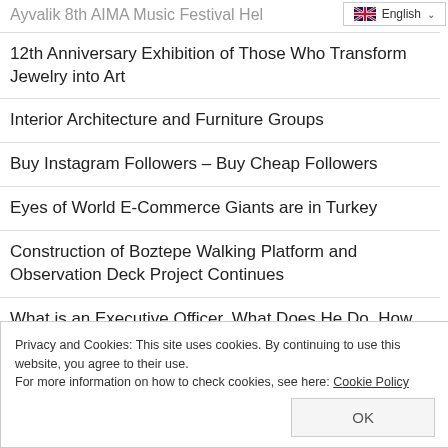English
Ayvalik 8th AIMA Music Festival Hel…
12th Anniversary Exhibition of Those Who Transform Jewelry into Art
Interior Architecture and Furniture Groups
Buy Instagram Followers – Buy Cheap Followers
Eyes of World E-Commerce Giants are in Turkey
Construction of Boztepe Walking Platform and Observation Deck Project Continues
What is an Executive Officer, What Does He Do, How To Become? Executive Officer Salaries 2022
Privacy and Cookies: This site uses cookies. By continuing to use this website, you agree to their use.
For more information on how to check cookies, see here: Cookie Policy
OK